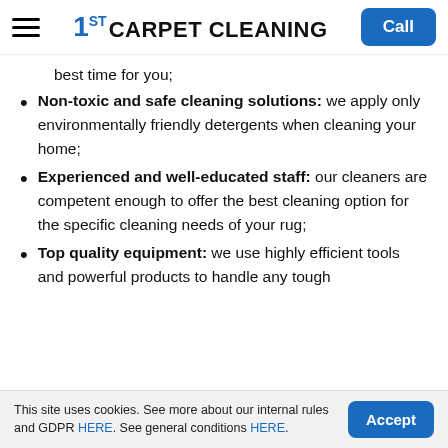1ST CARPET CLEANING — Call
best time for you;
Non-toxic and safe cleaning solutions: we apply only environmentally friendly detergents when cleaning your home;
Experienced and well-educated staff: our cleaners are competent enough to offer the best cleaning option for the specific cleaning needs of your rug;
Top quality equipment: we use highly efficient tools and powerful products to handle any tough
This site uses cookies. See more about our internal rules and GDPR HERE. See general conditions HERE.